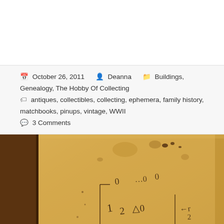October 26, 2011   Deanna   Buildings, Genealogy, The Hobby Of Collecting   antiques, collectibles, collecting, ephemera, family history, matchbooks, pinups, vintage, WWII   3 Comments
[Figure (photo): Close-up photograph of an aged, yellowed document or book page with handwritten Arabic or similar script numerals and markings. The left side shows a dark brown wooden binding or cover edge. The parchment is stained and worn.]